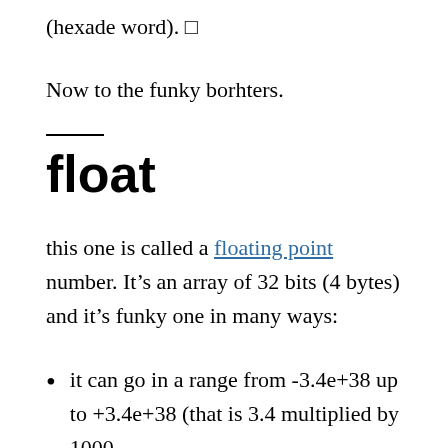(hexade word). □
Now to the funky borhters.
float
this one is called a floating point number. It's an array of 32 bits (4 bytes) and it's funky one in many ways:
it can go in a range from -3.4e+38 up to +3.4e+38 (that is 3.4 multiplied by 1000…